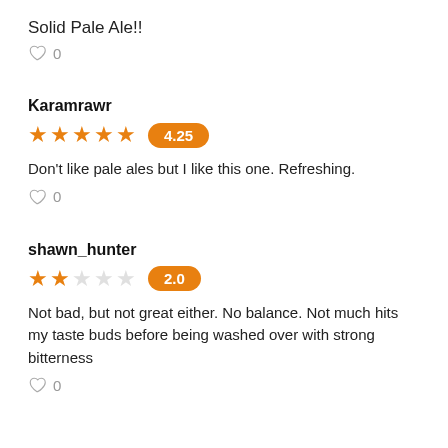Solid Pale Ale!!
0
Karamrawr
4.25
Don't like pale ales but I like this one. Refreshing.
0
shawn_hunter
2.0
Not bad, but not great either. No balance. Not much hits my taste buds before being washed over with strong bitterness
0